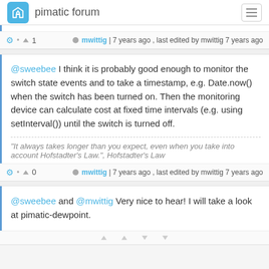pimatic forum
⚙ • ▲ 1   mwittig | 7 years ago , last edited by mwittig 7 years ago
@sweebee I think it is probably good enough to monitor the switch state events and to take a timestamp, e.g. Date.now() when the switch has been turned on. Then the monitoring device can calculate cost at fixed time intervals (e.g. using setInterval()) until the switch is turned off.
"It always takes longer than you expect, even when you take into account Hofstadter's Law.", Hofstadter's Law
⚙ • ▲ 0   mwittig | 7 years ago , last edited by mwittig 7 years ago
@sweebee and @mwittig Very nice to hear! I will take a look at pimatic-dewpoint.